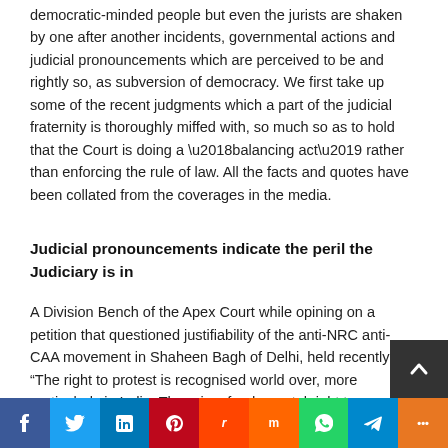democratic-minded people but even the jurists are shaken by one after another incidents, governmental actions and judicial pronouncements which are perceived to be and rightly so, as subversion of democracy. We first take up some of the recent judgments which a part of the judicial fraternity is thoroughly miffed with, so much so as to hold that the Court is doing a ‘balancing act’ rather than enforcing the rule of law. All the facts and quotes have been collated from the coverages in the media.
Judicial pronouncements indicate the peril the Judiciary is in
A Division Bench of the Apex Court while opining on a petition that questioned justifiability of the anti-NRC anti-CAA movement in Shaheen Bagh of Delhi, held recently that “The right to protest is recognised world over, more particularly in India. There is a fundamental right to assemble peacefully